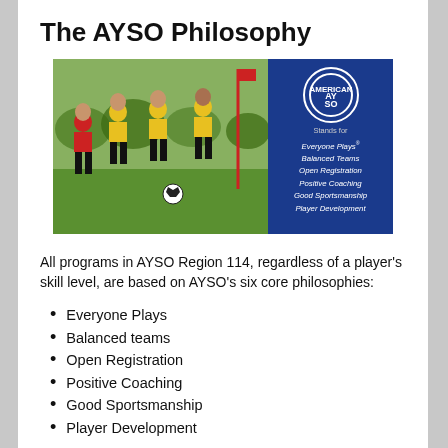The AYSO Philosophy
[Figure (photo): Children playing soccer in yellow and red uniforms on a grass field, alongside an AYSO promotional banner listing: Everyone Plays, Balanced Teams, Open Registration, Positive Coaching, Good Sportsmanship, Player Development]
All programs in AYSO Region 114, regardless of a player's skill level, are based on AYSO's six core philosophies:
Everyone Plays
Balanced teams
Open Registration
Positive Coaching
Good Sportsmanship
Player Development